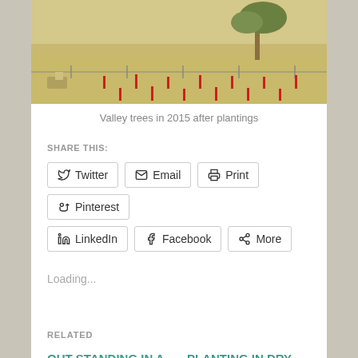[Figure (photo): Landscape photo of a valley with dry grassy field, a tree in the background, red marker stakes in rows, and a fence line]
Valley trees in 2015 after plantings
SHARE THIS:
Twitter
Email
Print
Pinterest
LinkedIn
Facebook
More
Loading...
RELATED
OUT STANDING IN A FIELD
May 18, 2016
In "Conservation"
PLANTING IN DRY GROUND
April 10, 2015
In "Australian plants"